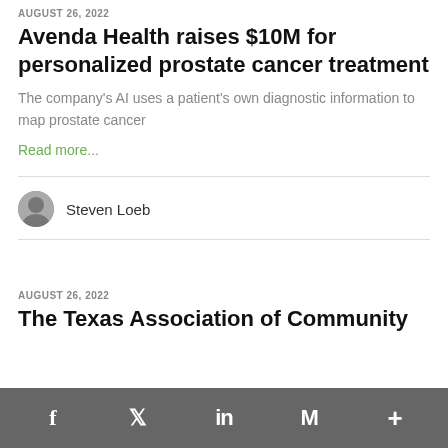AUGUST 26, 2022
Avenda Health raises $10M for personalized prostate cancer treatment
The company's AI uses a patient's own diagnostic information to map prostate cancer
Read more...
Steven Loeb
AUGUST 26, 2022
The Texas Association of Community...